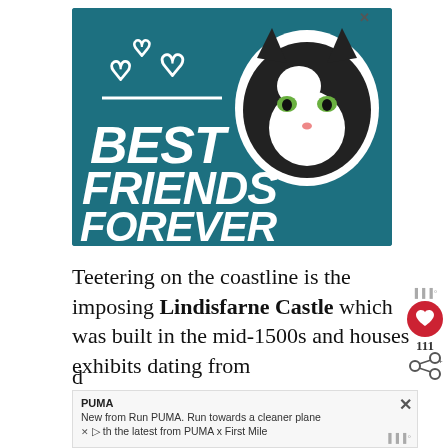[Figure (illustration): Advertisement banner with teal/dark cyan background showing a black-and-white tuxedo cat's face with a white outlined border in top-right. White heart outlines in top-left. White horizontal line. Bold white italic text reading BEST FRIENDS FOREVER in large uppercase letters. Small X close button in top-right corner.]
Teetering on the coastline is the imposing Lindisfarne Castle which was built in the mid-1500s and houses exhibits dating from
[Figure (illustration): Advertisement strip at bottom showing PUMA brand text and message: New from Run PUMA. Run towards a cleaner plane[t] with the latest from PUMA x First Mile. Has X close button on right side. PUMA and play button icons on left.]